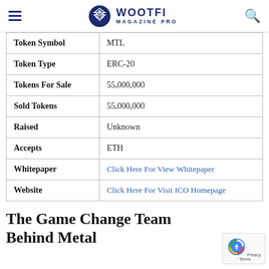WOOTFI MAGAZINE PRO
| Field | Value |
| --- | --- |
| Token Symbol | MTL |
| Token Type | ERC-20 |
| Tokens For Sale | 55,000,000 |
| Sold Tokens | 55,000,000 |
| Raised | Unknown |
| Accepts | ETH |
| Whitepaper | Click Here For View Whitepaper |
| Website | Click Here For Visit ICO Homepage |
The Game Change Team Behind Metal